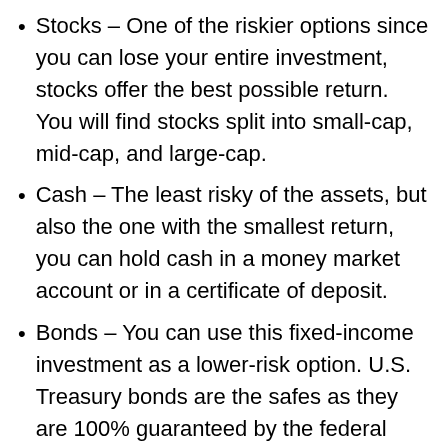Stocks – One of the riskier options since you can lose your entire investment, stocks offer the best possible return. You will find stocks split into small-cap, mid-cap, and large-cap.
Cash – The least risky of the assets, but also the one with the smallest return, you can hold cash in a money market account or in a certificate of deposit.
Bonds – You can use this fixed-income investment as a lower-risk option. U.S. Treasury bonds are the safes as they are 100% guaranteed by the federal government. They offer a slightly higher return than cash. You can also invest in state and municipal bonds or even junk bonds.